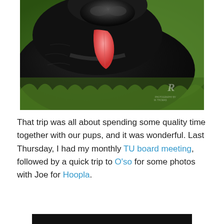[Figure (photo): Close-up photo of a black dog with tongue out, lying in green grass, wearing a green tag on collar. Photographer watermark in bottom right corner.]
That trip was all about spending some quality time together with our pups, and it was wonderful. Last Thursday, I had my monthly TU board meeting, followed by a quick trip to O'so for some photos with Joe for Hoopla.
[Figure (photo): Partial black rectangle visible at bottom of page, suggesting another photo below.]